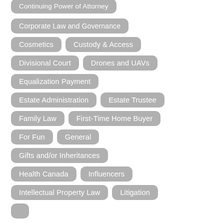Continuing Power of Attorney
Corporate Law and Governance
Cosmetics
Custody & Access
Divisional Court
Drones and UAVs
Equalization Payment
Estate Administration
Estate Trustee
Family Law
First-Time Home Buyer
For Fun
General
Gifts and/or Inheritances
Health Canada
Influencers
Intellectual Property Law
Litigation